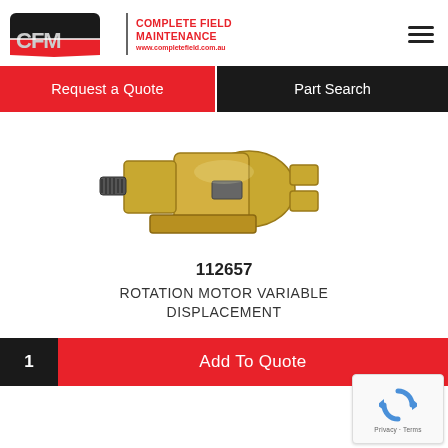[Figure (logo): CFM Complete Field Maintenance logo with red shield/banner graphic and company name in red text, with website www.completefield.com.au]
Request a Quote
Part Search
[Figure (photo): Yellow/gold hydraulic rotation motor with variable displacement, showing splined shaft, body, and port connections]
112657
ROTATION MOTOR VARIABLE DISPLACEMENT
1
Add To Quote
[Figure (other): Google reCAPTCHA widget showing blue circular arrow icon with Privacy and Terms links]